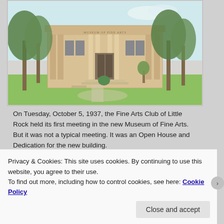[Figure (photo): A vintage illustrated postcard of the Museum of Fine Arts building in Little Rock, Arkansas. A tan/beige neoclassical building with columns at the entrance, surrounded by large trees, green lawn, and a walkway in front.]
On Tuesday, October 5, 1937, the Fine Arts Club of Little Rock held its first meeting in the new Museum of Fine Arts.  But it was not a typical meeting. It was an Open House and Dedication for the new building.
Construction on the 10,140 square foot building had
Privacy & Cookies: This site uses cookies. By continuing to use this website, you agree to their use.
To find out more, including how to control cookies, see here: Cookie Policy